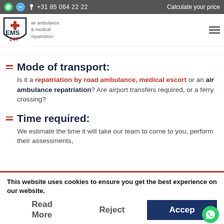+31 85 064 22 22  Calculate your price
[Figure (logo): EMS 247 shield logo with air ambulance & medical repatriation text]
(partial breadcrumb/navigation text)
Mode of transport:
Is it a repatriation by road ambulance, medical escort or an air ambulance repatriation? Are airport transfers required, or a ferry crossing?
Time required:
We estimate the time it will take our team to come to you, perform their assessments,
This website uses cookies to ensure you get the best experience on our website.
Read More  Reject  Accept